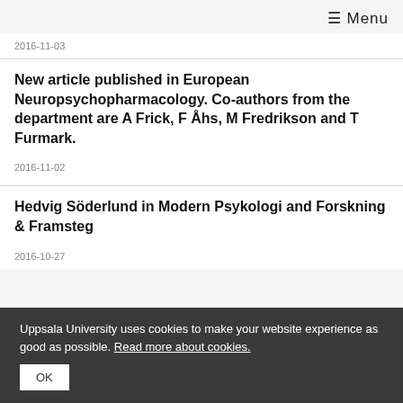≡ Menu
2016-11-03
New article published in European Neuropsychopharmacology. Co-authors from the department are A Frick, F Åhs, M Fredrikson and T Furmark.
2016-11-02
Hedvig Söderlund in Modern Psykologi and Forskning & Framsteg
2016-10-27
Uppsala University uses cookies to make your website experience as good as possible. Read more about cookies. OK